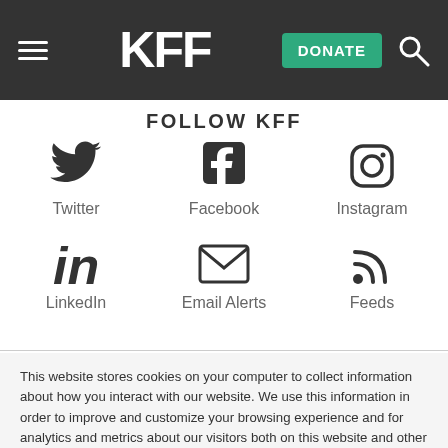KFF | DONATE | Search
FOLLOW KFF
[Figure (infographic): Social media icons in a 2-row grid: Twitter, Facebook, Instagram (top row); LinkedIn, Email Alerts, Feeds (bottom row)]
This website stores cookies on your computer to collect information about how you interact with our website. We use this information in order to improve and customize your browsing experience and for analytics and metrics about our visitors both on this website and other media. To find out more about the cookies we use, see our Privacy Policy.
Accept